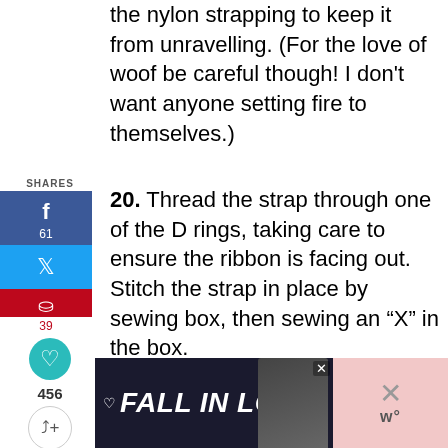the nylon strapping to keep it from unravelling. (For the love of woof be careful though! I don't want anyone setting fire to themselves.)
20. Thread the strap through one of the D rings, taking care to ensure the ribbon is facing out. Stitch the strap in place by sewing box, then sewing an “X” in the box.
[Figure (other): Social sharing sidebar with Facebook (61 shares), Twitter, Pinterest (39), heart/save button, total count 456, and share button]
[Figure (screenshot): Advertisement banner at bottom reading FALL IN LOVE with a dog image and brand logo]